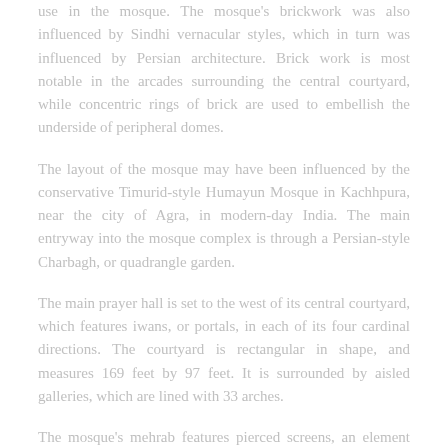use in the mosque. The mosque's brickwork was also influenced by Sindhi vernacular styles, which in turn was influenced by Persian architecture. Brick work is most notable in the arcades surrounding the central courtyard, while concentric rings of brick are used to embellish the underside of peripheral domes.
The layout of the mosque may have been influenced by the conservative Timurid-style Humayun Mosque in Kachhpura, near the city of Agra, in modern-day India. The main entryway into the mosque complex is through a Persian-style Charbagh, or quadrangle garden.
The main prayer hall is set to the west of its central courtyard, which features iwans, or portals, in each of its four cardinal directions. The courtyard is rectangular in shape, and measures 169 feet by 97 feet. It is surrounded by aisled galleries, which are lined with 33 arches.
The mosque's mehrab features pierced screens, an element that is commonly employed on Mughal funerary monuments, but unusual in Mughal mosques. The mosque features excellent acoustics, a person speaking on one end of the dome can be heard from the other end, and the complex around 100 built...